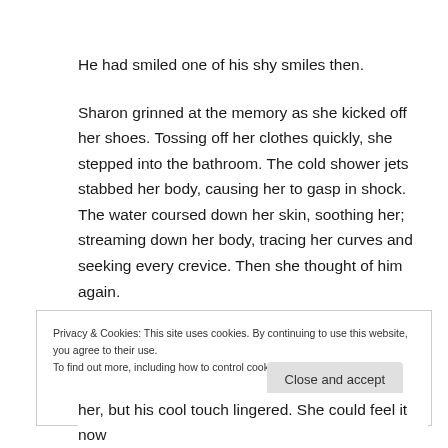He had smiled one of his shy smiles then.
Sharon grinned at the memory as she kicked off her shoes. Tossing off her clothes quickly, she stepped into the bathroom. The cold shower jets stabbed her body, causing her to gasp in shock. The water coursed down her skin, soothing her; streaming down her body, tracing her curves and seeking every crevice. Then she thought of him again.
Privacy & Cookies: This site uses cookies. By continuing to use this website, you agree to their use.
To find out more, including how to control cookies, see here: Cookie Policy
her, but his cool touch lingered. She could feel it now